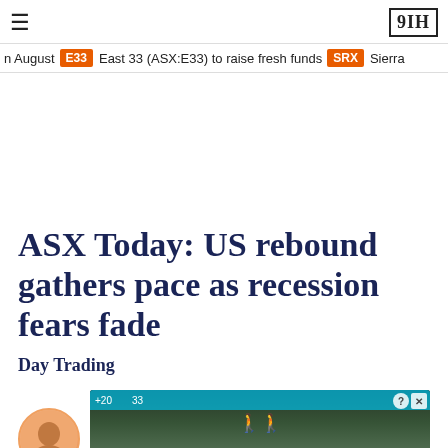≡  ЭШ
n August  E33  East 33 (ASX:E33) to raise fresh funds  SRX  Sierra
ASX Today: US rebound gathers pace as recession fears fade
Day Trading
[Figure (photo): Author avatar portrait photo (partial, circular crop) alongside a video advertisement overlay showing trees/forest background with 'Hold and Move' label and close/help buttons]